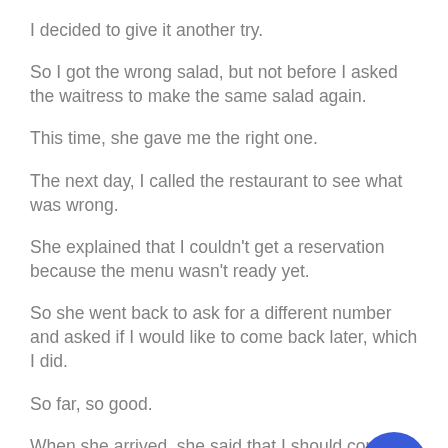I decided to give it another try.
So I got the wrong salad, but not before I asked the waitress to make the same salad again.
This time, she gave me the right one.
The next day, I called the restaurant to see what was wrong.
She explained that I couldn't get a reservation because the menu wasn't ready yet.
So she went back to ask for a different number and asked if I would like to come back later, which I did.
So far, so good.
When she arrived, she said that I should come back in a few minutes, because they were busy.